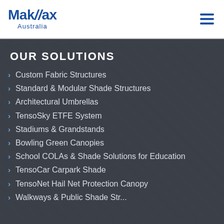MakMax Australia
OUR SOLUTIONS
Custom Fabric Structures
Standard & Modular Shade Structures
Architectural Umbrellas
TensoSky ETFE System
Stadiums & Grandstands
Bowling Green Canopies
School COLAs & Shade Solutions for Education
TensoCar Carpark Shade
TensoNet Hail Net Protection Canopy
Walkways & Public Shade Str...